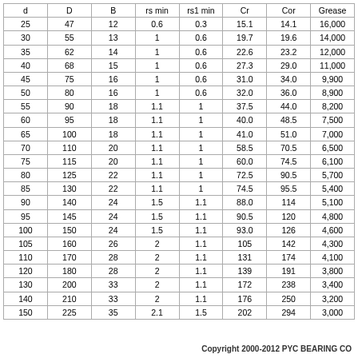| d | D | B | rs min | rs1 min | Cr | Cor | Grease |
| --- | --- | --- | --- | --- | --- | --- | --- |
| 25 | 47 | 12 | 0.6 | 0.3 | 15.1 | 14.1 | 16,000 |
| 30 | 55 | 13 | 1 | 0.6 | 19.7 | 19.6 | 14,000 |
| 35 | 62 | 14 | 1 | 0.6 | 22.6 | 23.2 | 12,000 |
| 40 | 68 | 15 | 1 | 0.6 | 27.3 | 29.0 | 11,000 |
| 45 | 75 | 16 | 1 | 0.6 | 31.0 | 34.0 | 9,900 |
| 50 | 80 | 16 | 1 | 0.6 | 32.0 | 36.0 | 8,900 |
| 55 | 90 | 18 | 1.1 | 1 | 37.5 | 44.0 | 8,200 |
| 60 | 95 | 18 | 1.1 | 1 | 40.0 | 48.5 | 7,500 |
| 65 | 100 | 18 | 1.1 | 1 | 41.0 | 51.0 | 7,000 |
| 70 | 110 | 20 | 1.1 | 1 | 58.5 | 70.5 | 6,500 |
| 75 | 115 | 20 | 1.1 | 1 | 60.0 | 74.5 | 6,100 |
| 80 | 125 | 22 | 1.1 | 1 | 72.5 | 90.5 | 5,700 |
| 85 | 130 | 22 | 1.1 | 1 | 74.5 | 95.5 | 5,400 |
| 90 | 140 | 24 | 1.5 | 1.1 | 88.0 | 114 | 5,100 |
| 95 | 145 | 24 | 1.5 | 1.1 | 90.5 | 120 | 4,800 |
| 100 | 150 | 24 | 1.5 | 1.1 | 93.0 | 126 | 4,600 |
| 105 | 160 | 26 | 2 | 1.1 | 105 | 142 | 4,300 |
| 110 | 170 | 28 | 2 | 1.1 | 131 | 174 | 4,100 |
| 120 | 180 | 28 | 2 | 1.1 | 139 | 191 | 3,800 |
| 130 | 200 | 33 | 2 | 1.1 | 172 | 238 | 3,400 |
| 140 | 210 | 33 | 2 | 1.1 | 176 | 250 | 3,200 |
| 150 | 225 | 35 | 2.1 | 1.5 | 202 | 294 | 3,000 |
Copyright 2000-2012 PYC BEARING CO